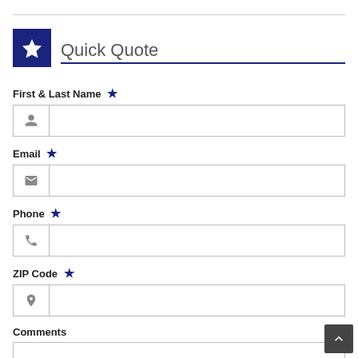Quick Quote
First & Last Name *
Email *
Phone *
ZIP Code *
Comments